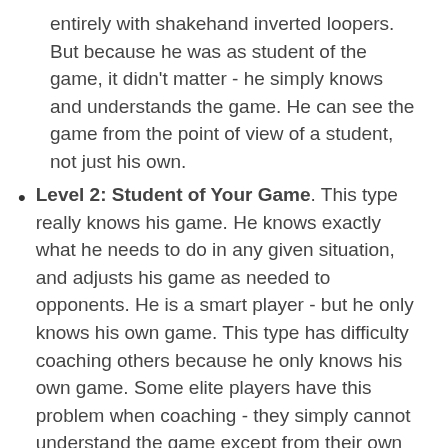entirely with shakehand inverted loopers. But because he was as student of the game, it didn't matter - he simply knows and understands the game. He can see the game from the point of view of a student, not just his own.
Level 2: Student of Your Game. This type really knows his game. He knows exactly what he needs to do in any given situation, and adjusts his game as needed to opponents. He is a smart player - but he only knows his own game. This type has difficulty coaching others because he only knows his own game. Some elite players have this problem when coaching - they simply cannot understand the game except from their own perspective.
Level 3: Student of Your Game Limited. This type of player knows his game pretty